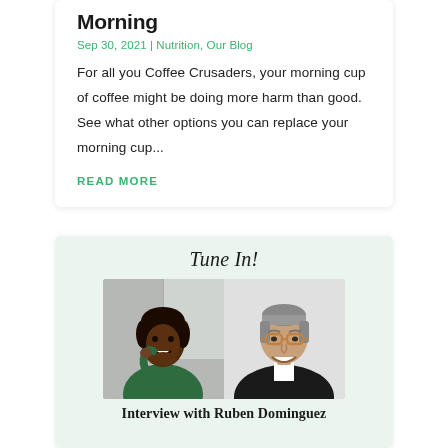Morning
Sep 30, 2021 | Nutrition, Our Blog
For all you Coffee Crusaders, your morning cup of coffee might be doing more harm than good. See what other options you can replace your morning cup...
READ MORE
Tune In!
[Figure (photo): Two headshot photos side by side: a Black woman smiling in a green top on the left, and a man with glasses and gray hair in a dark suit on the right.]
Interview with Ruben Dominguez